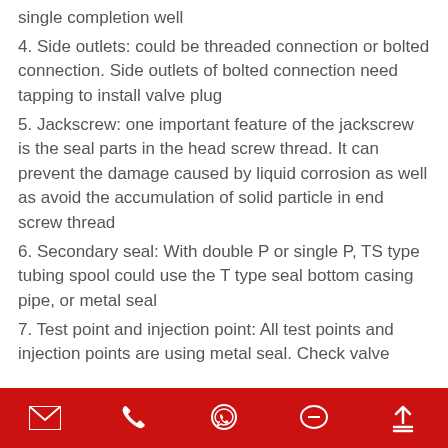single completion well
4. Side outlets: could be threaded connection or bolted connection. Side outlets of bolted connection need tapping to install valve plug
5. Jackscrew: one important feature of the jackscrew is the seal parts in the head screw thread. It can prevent the damage caused by liquid corrosion as well as avoid the accumulation of solid particle in end screw thread
6. Secondary seal: With double P or single P, TS type tubing spool could use the T type seal bottom casing pipe, or metal seal
7. Test point and injection point: All test points and injection points are using metal seal. Check valve
Email | Phone | WhatsApp | Chat | Upload